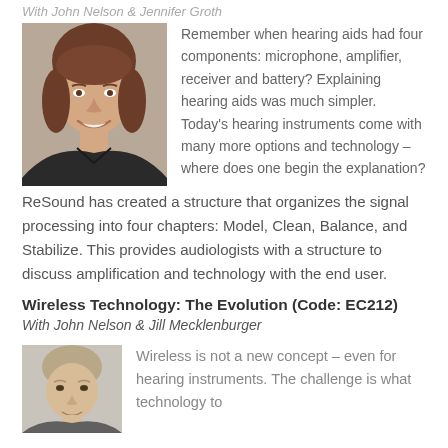With John Nelson & Jennifer Groth
[Figure (photo): Headshot of a woman with short brown hair, smiling, wearing dark top, against a grey background]
Remember when hearing aids had four components: microphone, amplifier, receiver and battery? Explaining hearing aids was much simpler. Today's hearing instruments come with many more options and technology – where does one begin the explanation? ReSound has created a structure that organizes the signal processing into four chapters: Model, Clean, Balance, and Stabilize. This provides audiologists with a structure to discuss amplification and technology with the end user.
Wireless Technology: The Evolution (Code: EC212)
With John Nelson & Jill Mecklenburger
[Figure (photo): Headshot of a man with light hair, against a light background]
Wireless is not a new concept – even for hearing instruments. The challenge is what technology to